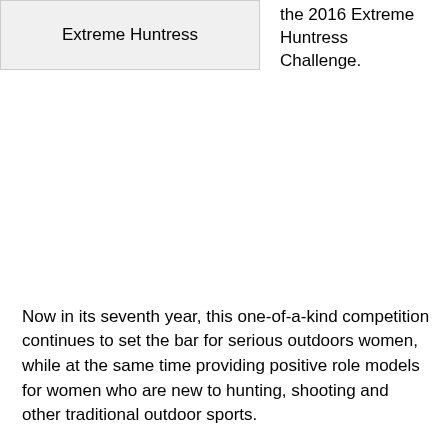| Extreme Huntress | the 2016 Extreme Huntress Challenge. |
Now in its seventh year, this one-of-a-kind competition continues to set the bar for serious outdoors women, while at the same time providing positive role models for women who are new to hunting, shooting and other traditional outdoor sports.